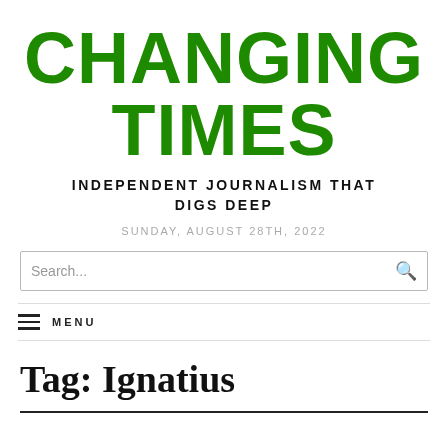CHANGING TIMES
INDEPENDENT JOURNALISM THAT DIGS DEEP
SUNDAY, AUGUST 28TH, 2022
Search...
MENU
Tag: Ignatius